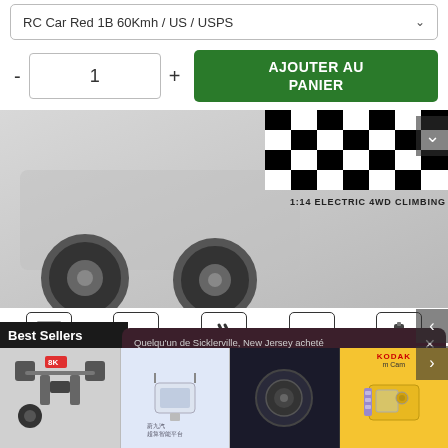RC Car Red 1B 60Kmh / US / USPS
- 1 + AJOUTER AU PANIER
[Figure (photo): RC car product image showing wheels/tires with checkered flag pattern and text '1:14 ELECTRIC 4WD CLIMBING CAR']
[Figure (infographic): Feature icons row: ALL-METAL CHASSIS DESIGN, 2.4GHZ FULL FUNCTION RADIO CONTROLLER, HARDWARE OIL SHOCK ABSORBERS, 60KM/H, 380 CARBON BRUSH STRONG MAGNETO]
ALL-METAL CHASSIS
With a cool appearance and an all-metal chassis, this exquisite workmanship gives a different experience.
Best Sellers
Quelqu'un de Sicklerville, New Jersey acheté
K911 MAX GPS Drone 4K ...
2 HEURES IL Y A
[Figure (screenshot): Bottom product thumbnails showing drone, router, camera products; KODAK camera partial overlay]